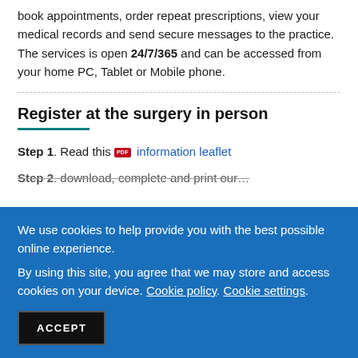Patient Access is a great online service which allows you to book appointments, order repeat prescriptions, view your medical records and send secure messages to the practice. The services is open 24/7/365 and can be accessed from your home PC, Tablet or Mobile phone.
Register at the surgery in person
Step 1. Read this [PDF icon] information leaflet
Step 2. download, complete and print our…
We use cookies to help provide you with the best possible online experience. By using this site, you agree that we may store and access cookies on your device. Cookie policy. Cookie settings.
ACCEPT